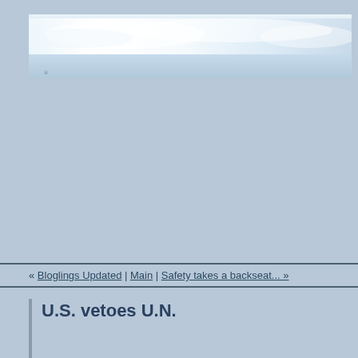[Figure (photo): Sky photo with clouds and light blue tones at the top of the page]
« Bloglings Updated | Main | Safety takes a backseat... »
U.S. vetoes U.N.